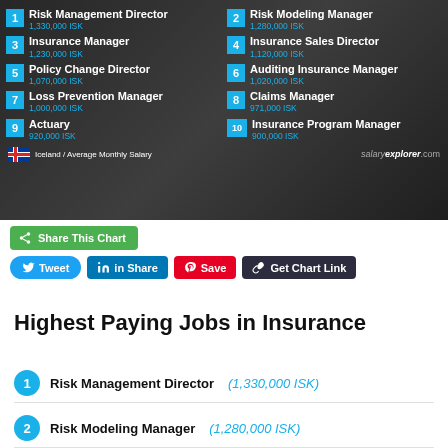[Figure (infographic): Top 10 Highest Paying Jobs in Insurance in Iceland with average monthly salaries in ISK. Two-column ranked list overlaid on a dark photo background. Source: salaryexplorer.com. Jobs: 1. Risk Management Director 1,330,000 ISK, 2. Risk Modeling Manager 1,280,000 ISK, 3. Insurance Manager 1,230,000 ISK, 4. Insurance Sales Director 1,120,000 ISK, 5. Policy Change Director 1,070,000 ISK, 6. Auditing Insurance Manager 1,020,000 ISK, 7. Loss Prevention Manager 1,000,000 ISK, 8. Claims Manager 971,000 ISK, 9. Actuary 920,000 ISK, 10. Insurance Program Manager 900,000 ISK.]
Share This Chart
Tweet  Share  Save  Get Chart Link
Highest Paying Jobs in Insurance
1  Risk Management Director  (1,330,000 ISK)
2  Risk Modeling Manager  (1,280,000 ISK)